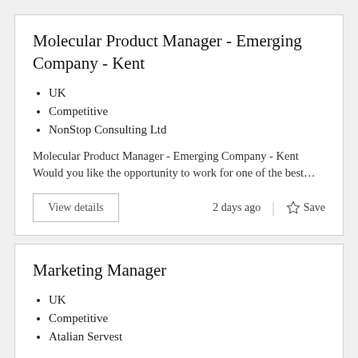Molecular Product Manager - Emerging Company - Kent
UK
Competitive
NonStop Consulting Ltd
Molecular Product Manager - Emerging Company - Kent Would you like the opportunity to work for one of the best…
View details
2 days ago | Save
Marketing Manager
UK
Competitive
Atalian Servest
Reference: GBR/AS/14.07/477/1/BR Job Title: Marketing